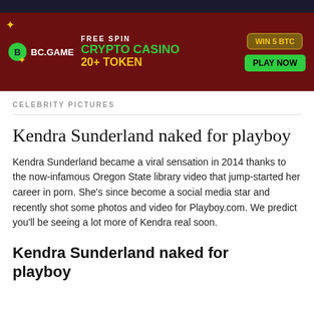[Figure (screenshot): Dark navy top bar of a website]
[Figure (infographic): BC.GAME crypto casino advertisement banner with text: FREE SPIN, CRYPTO CASINO, 20+ TOKEN, WIN 5 BTC, PLAY NOW]
CELEBRITY PICTURES
Kendra Sunderland naked for playboy
Kendra Sunderland became a viral sensation in 2014 thanks to the now-infamous Oregon State library video that jump-started her career in porn. She's since become a social media star and recently shot some photos and video for Playboy.com. We predict you'll be seeing a lot more of Kendra real soon.
Kendra Sunderland naked for playboy